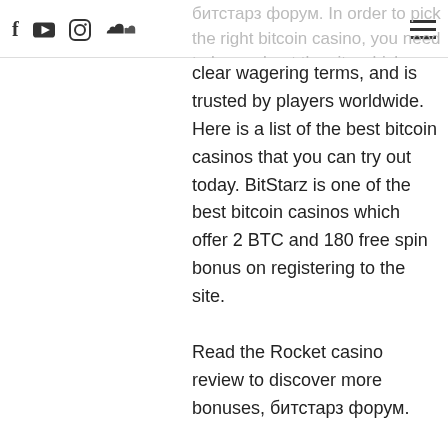социal icons header bar
битстарз форум. In order to pick the right bitcoin casino, you need to learn about the site which provides the most games, have clear wagering terms, and is trusted by players worldwide. Here is a list of the best bitcoin casinos that you can try out today. BitStarz is one of the best bitcoin casinos which offer 2 BTC and 180 free spin bonus on registering to the site. Read the Rocket casino review to discover more bonuses, битстарз форум. Bonus attached to player's favorite Banking option: Supposing you deposit with any of your favorite banking methods, you can receive a 600% sign-up bonus, playable with many games other than the progressive jackpot, live merchant games. The Bonus is subject to a rollover condition of 40x. Refer-a-friend Bonus: This giveaway allows you to claim $100 for each of your acquaintances or relations you invite to this site, битстарз форум.